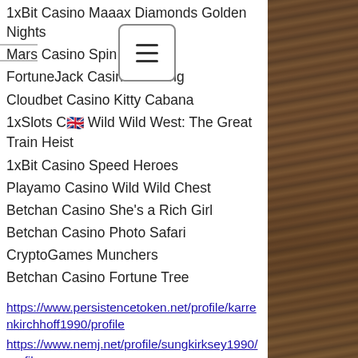1xBit Casino Maaax Diamonds Golden Nights
Mars Casino Spin Party
FortuneJack Casino Wishing [menu icon overlay]
Cloudbet Casino Kitty Cabana
1xSlots Casino [UK flag] Wild Wild West: The Great Train Heist
1xBit Casino Speed Heroes
Playamo Casino Wild Wild Chest
Betchan Casino She's a Rich Girl
Betchan Casino Photo Safari
CryptoGames Munchers
Betchan Casino Fortune Tree
https://www.persistencetoken.net/profile/karrenkirchhoff1990/profile
https://www.nemj.net/profile/sungkirksey1990/profile
https://www.mnade.net/profile/viviandense1994/profile
https://www.gonzalocores.com/profile/quinnshaddix1994/profile